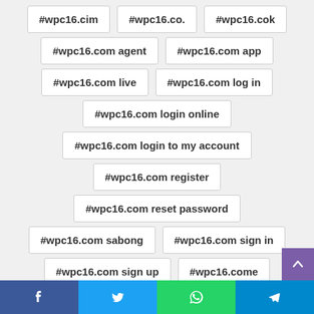#wpc16.cim
#wpc16.co.
#wpc16.cok
#wpc16.com agent
#wpc16.com app
#wpc16.com live
#wpc16.com log in
#wpc16.com login online
#wpc16.com login to my account
#wpc16.com register
#wpc16.com reset password
#wpc16.com sabong
#wpc16.com sign in
#wpc16.com sign up
#wpc16.come
#wpc16.comw/dashboard
#wpc16.con